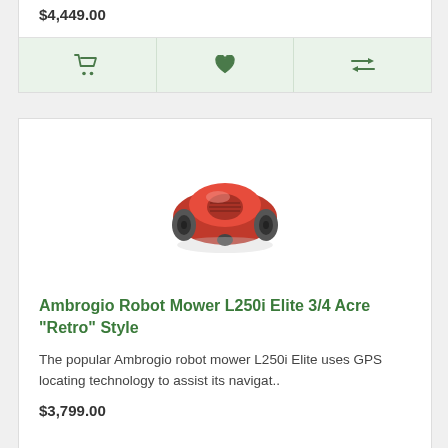$4,449.00
[Figure (other): Action bar with cart, heart, and compare icons on light green background (top card)]
[Figure (photo): Red Ambrogio Robot Mower L250i Elite in Retro style, viewed from front-right angle]
Ambrogio Robot Mower L250i Elite 3/4 Acre "Retro" Style
The popular Ambrogio robot mower L250i Elite uses GPS locating technology to assist its navigat..
$3,799.00
[Figure (other): Action bar with cart, heart, and compare icons on light green background (bottom card)]